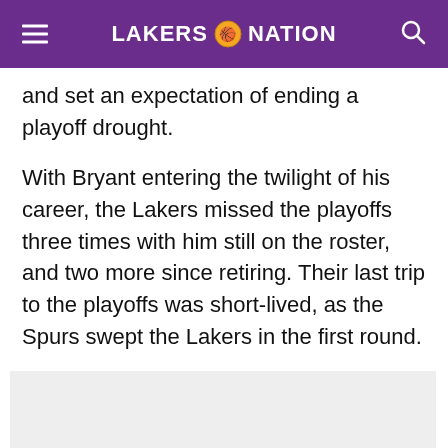LAKERS NATION
and set an expectation of ending a playoff drought.
With Bryant entering the twilight of his career, the Lakers missed the playoffs three times with him still on the roster, and two more since retiring. Their last trip to the playoffs was short-lived, as the Spurs swept the Lakers in the first round.
[Figure (other): Gray advertisement or image placeholder box]